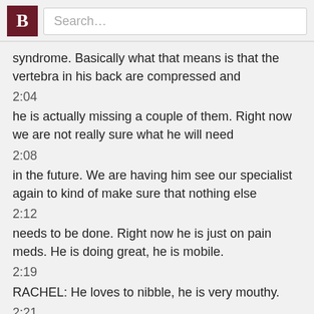Search…
syndrome. Basically what that means is that the vertebra in his back are compressed and
2:04
he is actually missing a couple of them. Right now we are not really sure what he will need
2:08
in the future. We are having him see our specialist again to kind of make sure that nothing else
2:12
needs to be done. Right now he is just on pain meds. He is doing great, he is mobile.
2:19
RACHEL: He loves to nibble, he is very mouthy.
2:21